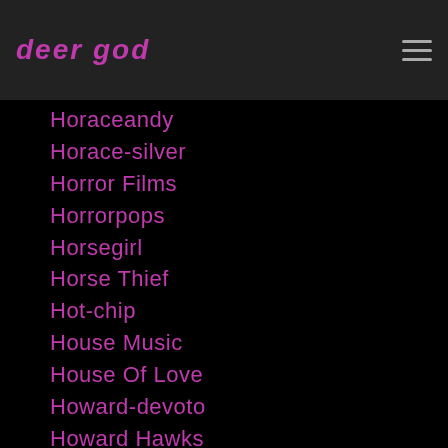deer god
Horaceandy
Horace-silver
Horror Films
Horrorpops
Horsegirl
Horse Thief
Hot-chip
House Music
House Of Love
Howard-devoto
Howard Hawks
Howard-stern
Howlin-wolf
How-to-draw-a-bunny
Hrishikesh-hirway
Hubertselbyjr
Hubert-selby-jr